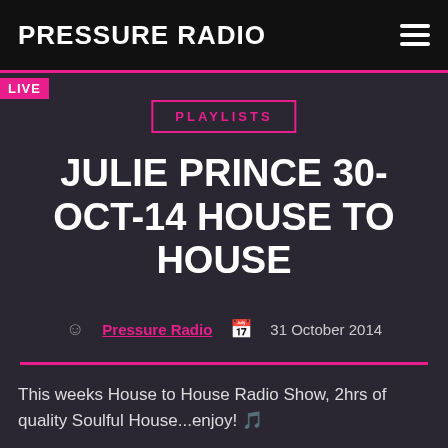PRESSURE RADIO
LIVE
PLAYLISTS
JULIE PRINCE 30-OCT-14 HOUSE TO HOUSE
Pressure Radio  31 October 2014
This weeks House to House Radio Show, 2hrs of quality Soulful House...enjoy! 🎵